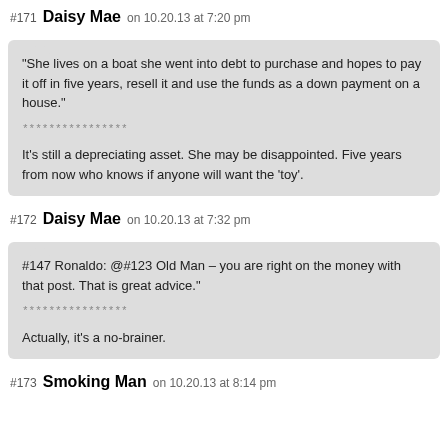#171 Daisy Mae on 10.20.13 at 7:20 pm
“She lives on a boat she went into debt to purchase and hopes to pay it off in five years, resell it and use the funds as a down payment on a house.”

****************

It’s still a depreciating asset. She may be disappointed. Five years from now who knows if anyone will want the ‘toy’.
#172 Daisy Mae on 10.20.13 at 7:32 pm
#147 Ronaldo: @#123 Old Man – you are right on the money with that post. That is great advice."

****************

Actually, it’s a no-brainer.
#173 Smoking Man on 10.20.13 at 8:14 pm